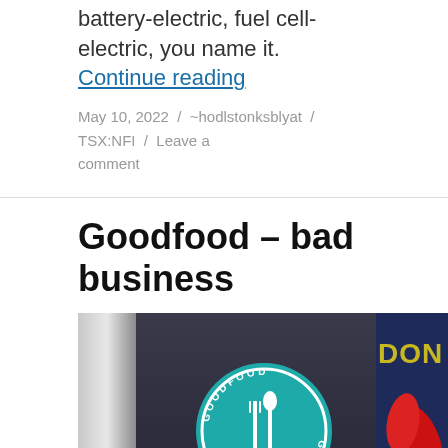battery-electric, fuel cell-electric, you name it.
Continue reading
May 10, 2022  /  ~hodlstonksblyat  /  TSX:NFI  /  Leave a comment
Goodfood – bad business
[Figure (photo): Photo of a Goodfood branded circular teal logo/sticker on a box, with another box showing 'DON' text on the right side. The logo shows a fork and spoon/spatula icon in white on a teal background with 'GOODFOOD' text around the circle.]